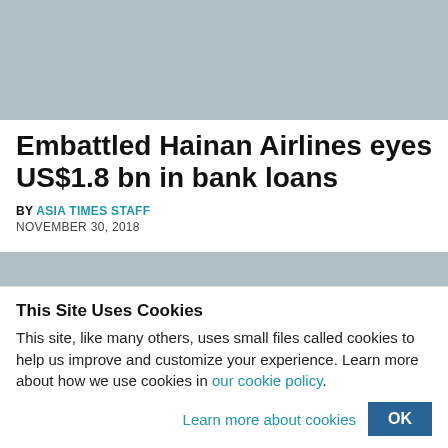[Figure (photo): Top article image placeholder, light blue-grey color]
Embattled Hainan Airlines eyes US$1.8 bn in bank loans
By ASIA TIMES STAFF
NOVEMBER 30, 2018
[Figure (photo): Mid article image placeholder, light blue-grey color]
This Site Uses Cookies
This site, like many others, uses small files called cookies to help us improve and customize your experience. Learn more about how we use cookies in our cookie policy.
Learn more about cookies    OK